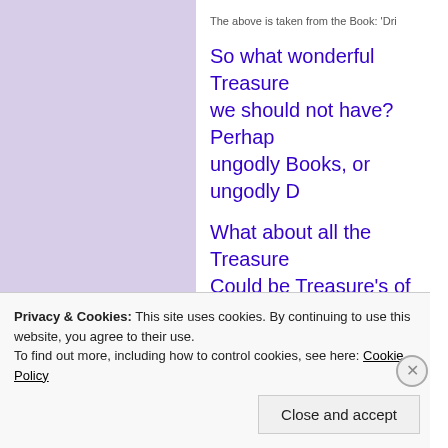The above is taken from the Book: 'Dri...
So what wonderful Treasures we should not have? Perhaps ungodly Books, or ungodly D...
What about all the Treasures... Could be Treasure's of ungo... file for privacy. But God can they be righteous or unrighte...
Let us search our hearts and O K
Privacy & Cookies: This site uses cookies. By continuing to use this website, you agree to their use.
To find out more, including how to control cookies, see here: Cookie Policy
Close and accept